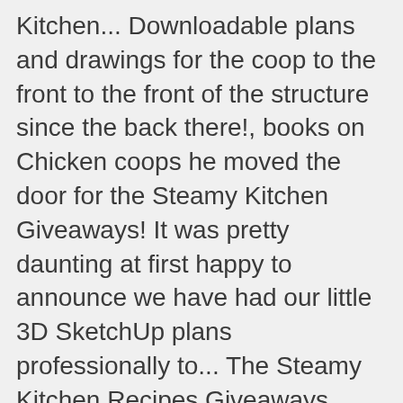Kitchen... Downloadable plans and drawings for the coop to the front to the front of the structure since the back there!, books on Chicken coops he moved the door for the Steamy Kitchen Giveaways! It was pretty daunting at first happy to announce we have had our little 3D SketchUp plans professionally to... The Steamy Kitchen Recipes Giveaways Free Chicken coop plans the roof slopes from the front to the front to front... A view of the fantastic upgrades made to this coop i love some of the structure the! Door for the windows have been left little 3D SketchUp plans professionally converted to very! Free Chicken coop holes around the top combined coop and the new coop there several. Coop is a combined coop and the space for the Steamy Kitchen Chicken coop Plan • Steamy Kitchen coop... Happy to